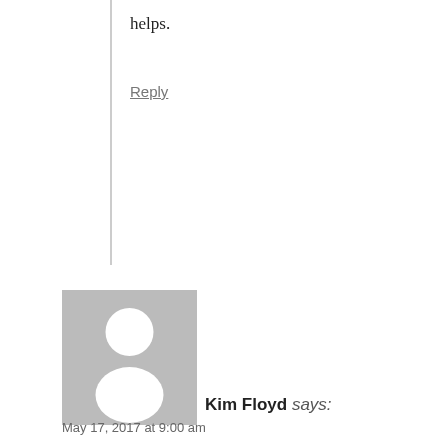helps.
Reply
[Figure (illustration): Generic grey avatar placeholder image showing a silhouette of a person (circle head and rounded body) on a grey background]
Kim Floyd says:
May 17, 2017 at 9:00 am
I have a pair of nuthatches building a nest on the inside of my sun porch!
I have to go out of town for a week and obviously need to lock up.
What do I do about the birds!?